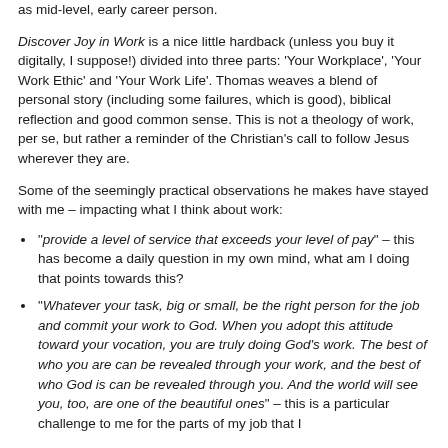as mid-level, early career person.
Discover Joy in Work is a nice little hardback (unless you buy it digitally, I suppose!) divided into three parts: 'Your Workplace', 'Your Work Ethic' and 'Your Work Life'. Thomas weaves a blend of personal story (including some failures, which is good), biblical reflection and good common sense. This is not a theology of work, per se, but rather a reminder of the Christian's call to follow Jesus wherever they are.
Some of the seemingly practical observations he makes have stayed with me – impacting what I think about work:
"provide a level of service that exceeds your level of pay" – this has become a daily question in my own mind, what am I doing that points towards this?
"Whatever your task, big or small, be the right person for the job and commit your work to God. When you adopt this attitude toward your vocation, you are truly doing God's work. The best of who you are can be revealed through your work, and the best of who God is can be revealed through you. And the world will see you, too, are one of the beautiful ones" – this is a particular challenge to me for the parts of my job that I